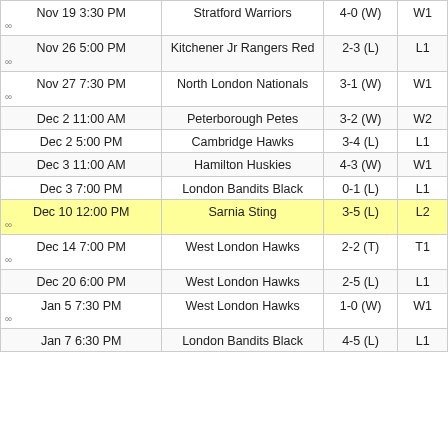| Date | Opponent | Score | Streak |
| --- | --- | --- | --- |
| Nov 19 3:30 PM | Stratford Warriors | 4-0 (W) | W1 |
| Nov 26 5:00 PM | Kitchener Jr Rangers Red | 2-3 (L) | L1 |
| Nov 27 7:30 PM | North London Nationals | 3-1 (W) | W1 |
| Dec 2 11:00 AM | Peterborough Petes | 3-2 (W) | W2 |
| Dec 2 5:00 PM | Cambridge Hawks | 3-4 (L) | L1 |
| Dec 3 11:00 AM | Hamilton Huskies | 4-3 (W) | W1 |
| Dec 3 7:00 PM | London Bandits Black | 0-1 (L) | L1 |
| Dec 10 12:00 PM | Sarnia Sting | 3-5 (L) | L2 |
| Dec 14 7:00 PM | West London Hawks | 2-2 (T) | T1 |
| Dec 20 6:00 PM | West London Hawks | 2-5 (L) | L1 |
| Jan 5 7:30 PM | West London Hawks | 1-0 (W) | W1 |
| Jan 7 6:30 PM | London Bandits Black | 4-5 (L) | L1 |